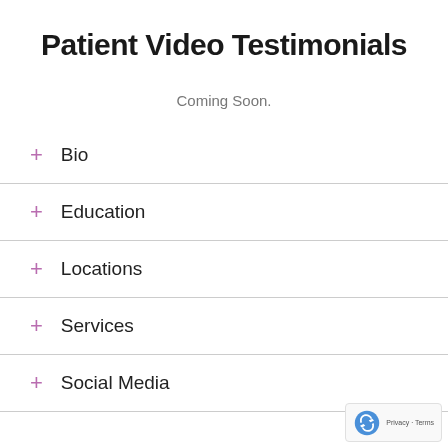Patient Video Testimonials
Coming Soon.
+ Bio
+ Education
+ Locations
+ Services
+ Social Media